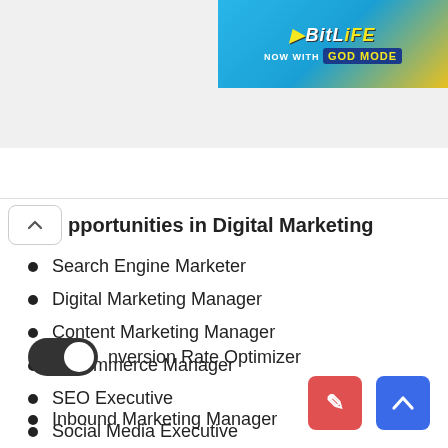[Figure (screenshot): BitLife app advertisement banner - 'BitLife NOW WITH GOD MODE']
pportunities in Digital Marketing
Search Engine Marketer
Digital Marketing Manager
Content Marketing Manager
E-Commerce Manager
SEO Executive
Social Media Executive
Online Entrepreneur
CRM Manager
Web Analytics Expert
Conversion Rate Optimizer
Inbound Marketing Manager